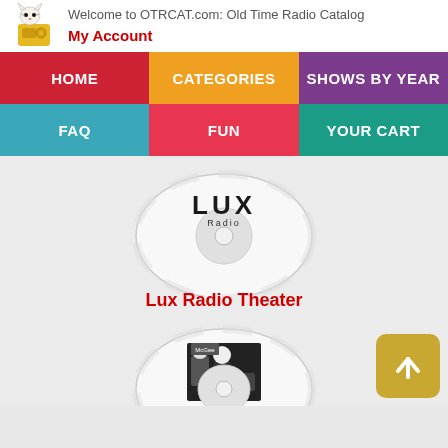Welcome to OTRCAT.com: Old Time Radio Catalog
My Account
HOME | CATEGORIES | SHOWS BY YEAR | FAQ | FUN | YOUR CART
[Figure (illustration): CD disc with LUX Radio text logo on label]
Lux Radio Theater
[Figure (illustration): CD disc with Fibber McGee and Molly image on label]
Fibber McGee and Molly